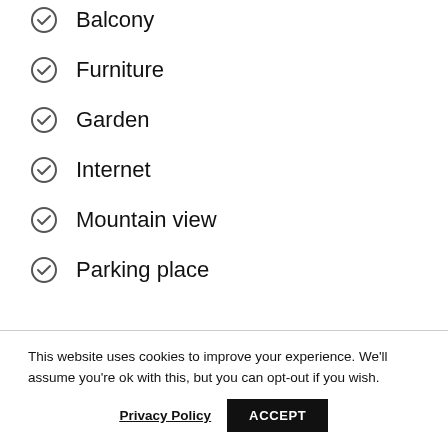Balcony
Furniture
Garden
Internet
Mountain view
Parking place
This website uses cookies to improve your experience. We'll assume you're ok with this, but you can opt-out if you wish.
Privacy Policy  ACCEPT